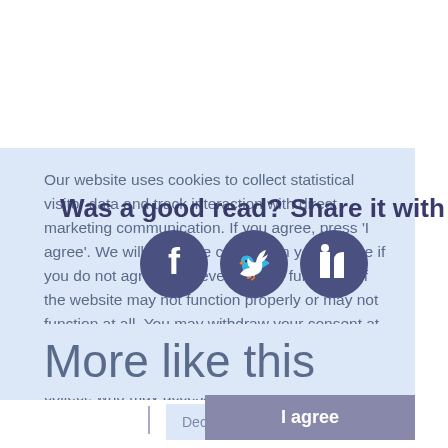Our website uses cookies to collect statistical visitor data and track interaction with direct marketing communication. If you agree, press 'I agree'. We will not place cookies on your device if you do not agree. However, certain functions of the website may not function properly or may not function at all. You may withdraw your consent at any time. Please see our Website privacy policy for more information about cookies, data they collect, who may access them, and your rights.
Was a good read? Share it with others!
[Figure (infographic): Three social media share icons: Facebook, Twitter, LinkedIn — dark purple circles with white icons]
More like this
Decline
I agree